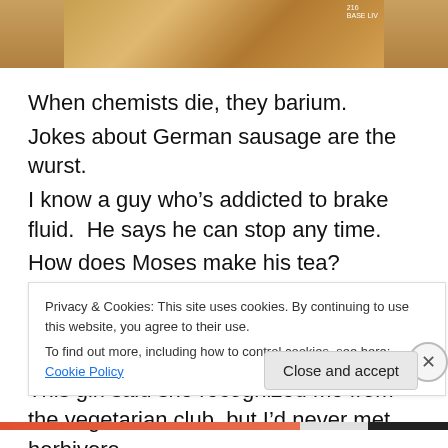[Figure (photo): Partial photo of a person (appears to be a painting or photo, brownish tones, top portion visible)]
When chemists die, they barium.
Jokes about German sausage are the wurst.
I know a guy who's addicted to brake fluid.  He says he can stop any time.
How does Moses make his tea?  Hebrews it.
I stayed up all night to see where the sun went.  Then it dawned on me.
This girl said she recognized me from the vegetarian club, but I'd never met herbivore.
Privacy & Cookies: This site uses cookies. By continuing to use this website, you agree to their use.
To find out more, including how to control cookies, see here: Cookie Policy